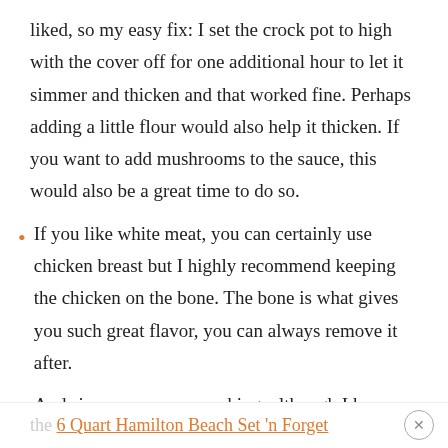liked, so my easy fix: I set the crock pot to high with the cover off for one additional hour to let it simmer and thicken and that worked fine. Perhaps adding a little flour would also help it thicken. If you want to add mushrooms to the sauce, this would also be a great time to do so.
If you like white meat, you can certainly use chicken breast but I highly recommend keeping the chicken on the bone. The bone is what gives you such great flavor, you can always remove it after.
And since so many are asking, although I have and love my Instant Pot, I still love my slow cooker! I have the 6 Quart Hamilton Beach Set 'n Forget